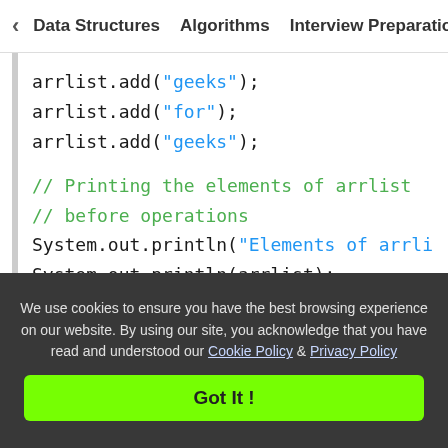< Data Structures   Algorithms   Interview Preparation   To>
[Figure (screenshot): Java code snippet showing arrlist.add operations, System.out.println calls, and Collections.addAll call with string arguments highlighted in blue, and comments in green]
We use cookies to ensure you have the best browsing experience on our website. By using our site, you acknowledge that you have read and understood our Cookie Policy & Privacy Policy
Got It !